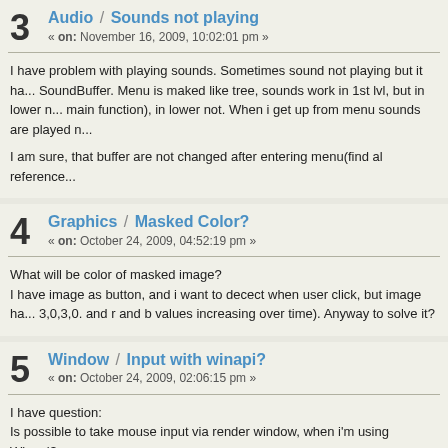3 Audio / Sounds not playing « on: November 16, 2009, 10:02:01 pm »
I have problem with playing sounds. Sometimes sound not playing but it ha... SoundBuffer. Menu is maked like tree, sounds work in 1st lvl, but in lower n... main function), in lower not. When i get up from menu sounds are played n...

I am sure, that buffer are not changed after entering menu(find al reference...
4 Graphics / Masked Color? « on: October 24, 2009, 04:52:19 pm »
What will be color of masked image?
I have image as button, and i want to decect when user click, but image ha... 3,0,3,0. and r and b values increasing over time). Anyway to solve it?
5 Window / Input with winapi? « on: October 24, 2009, 02:06:15 pm »
I have question:
Is possible to take mouse input via render window, when i'm using Winapi?...